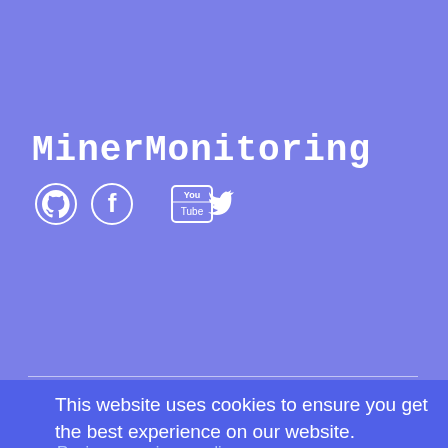MinerMonitoring
[Figure (logo): Social media icons: GitHub, Facebook, YouTube, Twitter in white on purple background]
Terms & Conditions  Privacy Policy  Changelog  Brand  Pools  Blog  Partners
© MinerMonitoring All Rights Reserved.
This website uses cookies to ensure you get the best experience on our website.
Review our privacy policy
Got it!